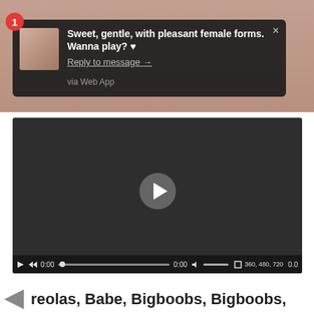[Figure (screenshot): Notification overlay on a blurred background image showing a spam/bot message: 'Sweet, gentle, with pleasant female forms. Wanna play? ♥' with a 'Reply to message →' link and 'via Web App' text. Red badge with number 1. Close button X.]
[Figure (screenshot): Video player with dark background, play button in center, and controls bar at bottom showing 0:00 timestamp, progress bar, volume control, resolution options 360, 480, 720 and 0.0.]
reolas, Babe, Bigboobs, Bigboobs,